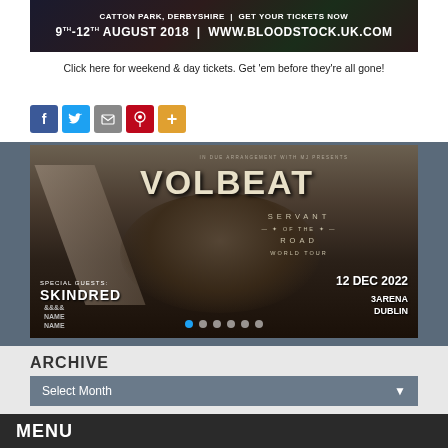[Figure (photo): Bloodstock festival banner: Catton Park Derbyshire, 9th-12th August 2018, Get your tickets now, www.bloodstock.uk.com]
Click here for weekend & day tickets. Get 'em before they're all gone!
[Figure (infographic): Social share icons: Facebook (blue), Twitter (blue), Email/share (grey), Pinterest (red), More/plus (orange)]
[Figure (photo): Volbeat - Servant of the Road World Tour concert poster. Special guests: Skindred. 12 Dec 2022, 3Arena, Dublin. Sepia-toned image of person lying on a road with large text VOLBEAT.]
ARCHIVE
Select Month
MENU